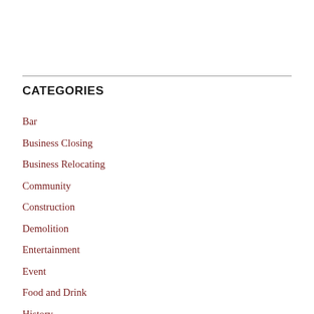CATEGORIES
Bar
Business Closing
Business Relocating
Community
Construction
Demolition
Entertainment
Event
Food and Drink
History
Infrastructure
Montavilla